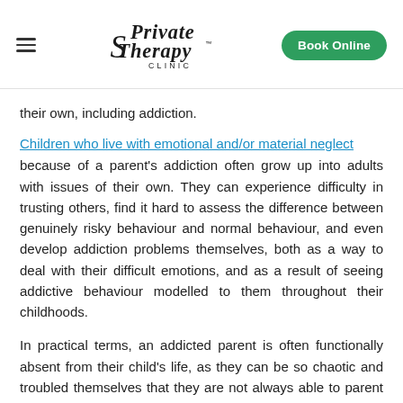[Figure (logo): Private Therapy Clinic logo with hamburger menu icon on left and Book Online green button on right]
their own, including addiction.
Children who live with emotional and/or material neglect because of a parent's addiction often grow up into adults with issues of their own. They can experience difficulty in trusting others, find it hard to assess the difference between genuinely risky behaviour and normal behaviour, and even develop addiction problems themselves, both as a way to deal with their difficult emotions, and as a result of seeing addictive behaviour modelled to them throughout their childhoods.
In practical terms, an addicted parent is often functionally absent from their child's life, as they can be so chaotic and troubled themselves that they are not always able to parent effectively, regardless of how much they love their children and try to care for them. When the substance in question is an illegal one, matters are particularly complicated, as criminality